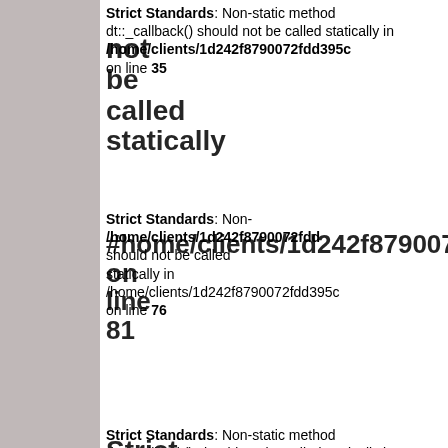Strict Standards: Non-static method dt::_callback() should not be called statically in /home/clients/1d242f8790072fdd395c on line 35
Strict Standards: Non-static method #home/clients/1d242f8790072fdd should not be called statically in /home/clients/1d242f8790072fdd395c on line 76
Strict Standards: Non-static method dt::_callback() should not be called statically in /home/clients/1d242f8790072fdd395c on line 35
Strict Standards: Non-static method twPostMeta::get() should not be called statically in /home/clients/1d242f8790072fdd395c on line 35
Strict Standards: Non-static method dt::str() should not be called statically in /home/clients/1d242f8790072fdd